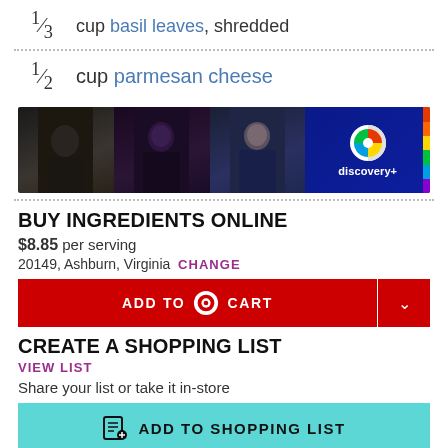1/3 cup basil leaves, shredded
1/2 cup parmesan cheese
[Figure (photo): Discovery+ advertisement banner showing three people and the Discovery+ logo on dark blue background]
BUY INGREDIENTS ONLINE
$8.85 per serving
20149, Ashburn, Virginia CHANGE
ADD TO CART
CREATE A SHOPPING LIST
VIEW LIST
Share your list or take it in-store
ADD TO SHOPPING LIST